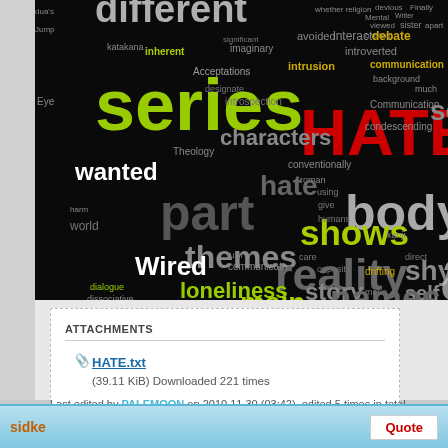[Figure (other): Word cloud on dark background with words like 'series', 'HATE', 'body', 'reality', 'loneliness', 'shows', 'themes', 'characters', 'names', 'wanted', 'part', 'main', 'Wired', 'shy', 'self', 'story', 'communication', 'dialogue', 'dissociative', 'strangely apathetic' and many others in various colors including white, yellow-green, red, gold, and gray]
ATTACHMENTS
HATE.txt (39.11 KiB) Downloaded 221 times
Last edited by PALEMOON on 2010.11.30 (03:42), edited 5 times in total.
2009.08.12 (19:33)
sidke
Quote